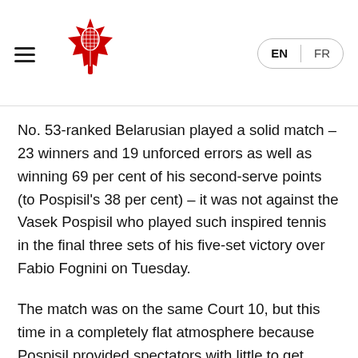Tennis Canada navigation header with logo and EN/FR language switcher
No. 53-ranked Belarusian played a solid match – 23 winners and 19 unforced errors as well as winning 69 per cent of his second-serve points (to Pospisil's 38 per cent) – it was not against the Vasek Pospisil who played such inspired tennis in the final three sets of his five-set victory over Fabio Fognini on Tuesday.
The match was on the same Court 10, but this time in a completely flat atmosphere because Pospisil provided spectators with little to get revved up about. There was a positive sign in the